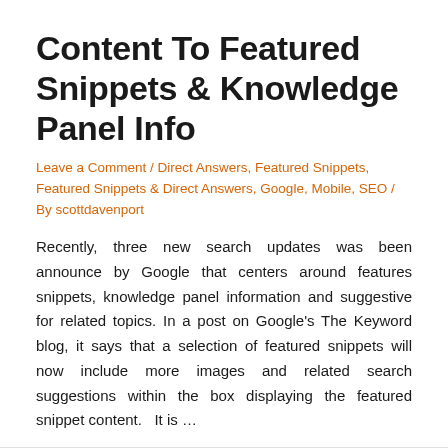Content To Featured Snippets & Knowledge Panel Info
Leave a Comment / Direct Answers, Featured Snippets, Featured Snippets & Direct Answers, Google, Mobile, SEO / By scottdavenport
Recently, three new search updates was been announce by Google that centers around features snippets, knowledge panel information and suggestive for related topics. In a post on Google's The Keyword blog, it says that a selection of featured snippets will now include more images and related search suggestions within the box displaying the featured snippet content.   It is …
Read More »